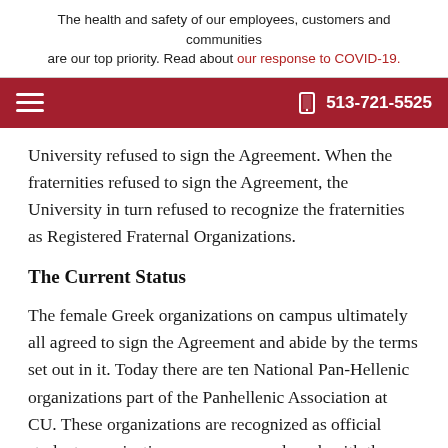The health and safety of our employees, customers and communities are our top priority. Read about our response to COVID-19.
513-721-5525
University refused to sign the Agreement.  When the fraternities refused to sign the Agreement, the University in turn refused to recognize the fraternities as Registered Fraternal Organizations.
The Current Status
The female Greek organizations on campus ultimately all agreed to sign the Agreement and abide by the terms set out in it.  Today there are ten National Pan-Hellenic organizations part of the Panhellenic Association at CU.  These organizations are recognized as official student organizations on campus and work with the University's Office of Greek Life.  As official organizations, they have full access to the privileges and benefits detailed in the Agreement.